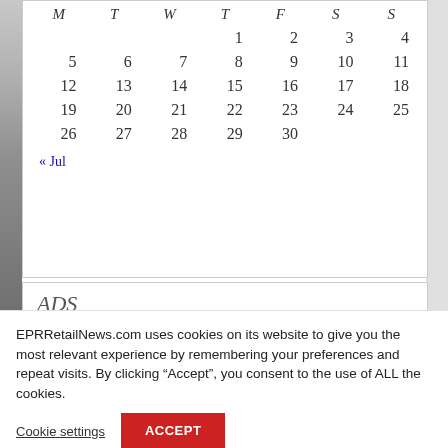| M | T | W | T | F | S | S |
| --- | --- | --- | --- | --- | --- | --- |
|  |  |  | 1 | 2 | 3 | 4 |
| 5 | 6 | 7 | 8 | 9 | 10 | 11 |
| 12 | 13 | 14 | 15 | 16 | 17 | 18 |
| 19 | 20 | 21 | 22 | 23 | 24 | 25 |
| 26 | 27 | 28 | 29 | 30 |  |  |
« Jul
ADS
[Figure (other): Blue horizontal banner/advertisement bar]
EPRRetailNews.com uses cookies on its website to give you the most relevant experience by remembering your preferences and repeat visits. By clicking “Accept”, you consent to the use of ALL the cookies.
Cookie settings
ACCEPT